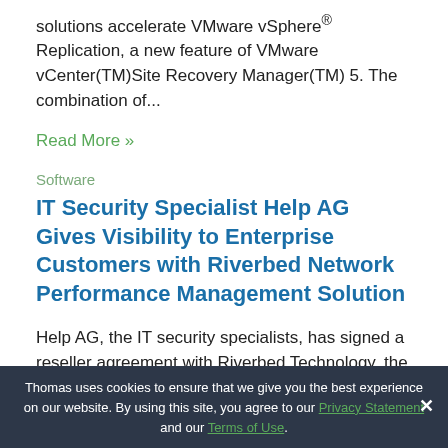solutions accelerate VMware vSphere® Replication, a new feature of VMware vCenter(TM)Site Recovery Manager(TM) 5. The combination of...
Read More »
Software
IT Security Specialist Help AG Gives Visibility to Enterprise Customers with Riverbed Network Performance Management Solution
Help AG, the IT security specialists, has signed a reseller agreement with Riverbed Technology, the IT performance company. As a reseller in the Riverbed® Partner Network (RPN), Help AG will be able to resell the entire Riverbed product portfolio and plans to focus heavily on delivering the Riverbed Cascade®...
Thomas uses cookies to ensure that we give you the best experience on our website. By using this site, you agree to our Privacy Statement and our Terms of Use.